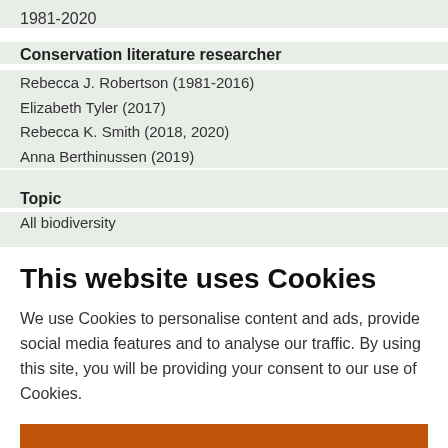1981-2020
Conservation literature researcher
Rebecca J. Robertson (1981-2016)
Elizabeth Tyler (2017)
Rebecca K. Smith (2018, 2020)
Anna Berthinussen (2019)
Topic
All biodiversity
This website uses Cookies
We use Cookies to personalise content and ads, provide social media features and to analyse our traffic. By using this site, you will be providing your consent to our use of Cookies.
Accept & continue